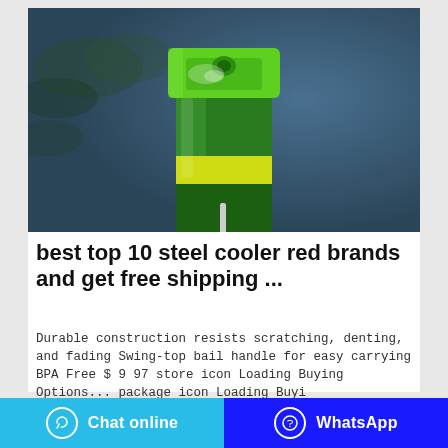[Figure (photo): Close-up photo of a green aerosol spray can with a bright green cap and yellow/green label, on a dark blue-grey background with blurred foliage]
best top 10 steel cooler red brands and get free shipping ...
Durable construction resists scratching, denting, and fading Swing-top bail handle for easy carrying BPA Free $ 9 97 store icon Loading Buying Options... package icon Loading Buyi